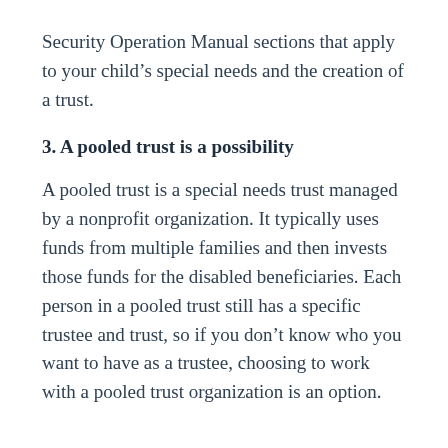Security Operation Manual sections that apply to your child's special needs and the creation of a trust.
3. A pooled trust is a possibility
A pooled trust is a special needs trust managed by a nonprofit organization. It typically uses funds from multiple families and then invests those funds for the disabled beneficiaries. Each person in a pooled trust still has a specific trustee and trust, so if you don't know who you want to have as a trustee, choosing to work with a pooled trust organization is an option.